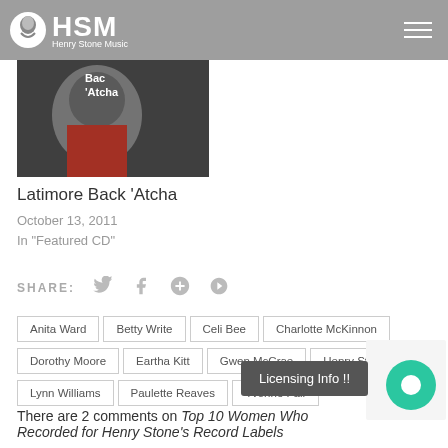HSM Henry Stone Music
[Figure (photo): Latimore in red jacket, thumbnail for Back Atcha post]
Latimore Back 'Atcha
October 13, 2011
In "Featured CD"
SHARE:
Anita Ward
Betty Write
Celi Bee
Charlotte McKinnon
Dorothy Moore
Eartha Kitt
Gwen McCrae
Henry Stone
Lynn Williams
Paulette Reaves
Yvonne Fair
There are 2 comments on Top 10 Women Who Recorded for Henry Stone's Record Labels